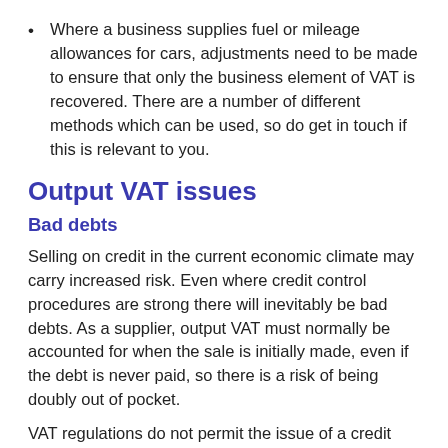Where a business supplies fuel or mileage allowances for cars, adjustments need to be made to ensure that only the business element of VAT is recovered. There are a number of different methods which can be used, so do get in touch if this is relevant to you.
Output VAT issues
Bad debts
Selling on credit in the current economic climate may carry increased risk. Even where credit control procedures are strong there will inevitably be bad debts. As a supplier, output VAT must normally be accounted for when the sale is initially made, even if the debt is never paid, so there is a risk of being doubly out of pocket.
VAT regulations do not permit the issue of a credit note to cancel output tax simply because the customer